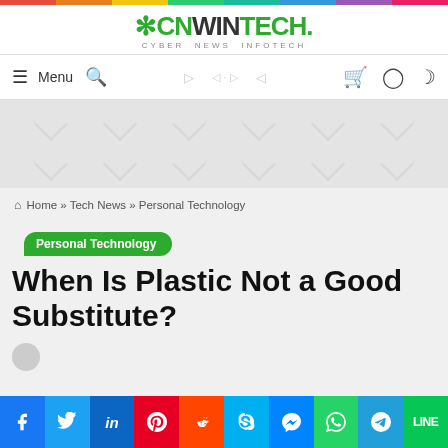CNWINTECH. Cyber News InfoTech
Menu
[Figure (screenshot): Gray banner/advertisement placeholder area with watermark chevron patterns]
Home » Tech News » Personal Technology
Personal Technology
When Is Plastic Not a Good Substitute?
Social share bar: Facebook, Twitter, LinkedIn, Pinterest, Reddit, Skype, Messenger, WhatsApp, Telegram, Line